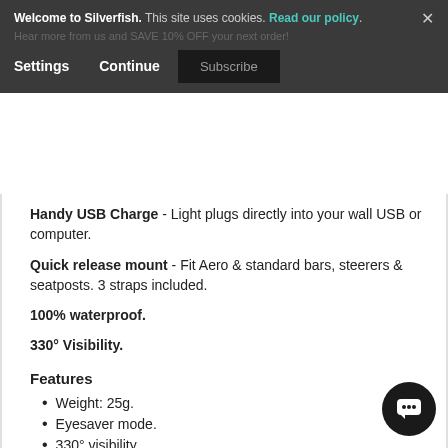Welcome to Silverfish. This site uses cookies. Read our policy. Settings Continue Subscribe
Handy USB Charge - Light plugs directly into your wall USB or computer.
Quick release mount - Fit Aero & standard bars, steerers & seatposts. 3 straps included.
100% waterproof.
330° Visibility.
Features
Weight: 25g.
Eyesaver mode.
330° visibility.
Chip on board.
Programmable modes.
Feeder & right...